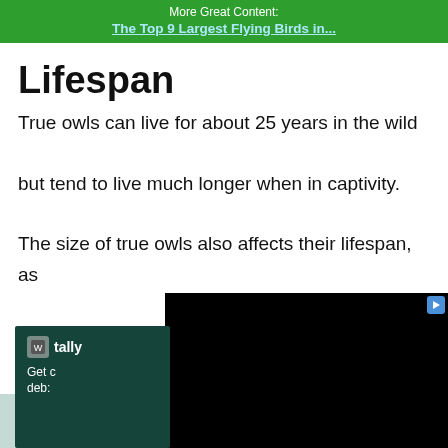More Great Content:
The Top 9 Largest Flying Birds in...
Lifespan
True owls can live for about 25 years in the wild but tend to live much longer when in captivity. The size of true owls also affects their lifespan, as larger owls tend to live longer than smaller owls. Their main predator is the great horned owl
[Figure (screenshot): Advertisement overlay: black video player area on right, Tally app ad on left with dark green background showing tally logo and text 'Get out of debt']
[Figure (illustration): Bottom advertisement area with light teal background showing a cartoon owl illustration]